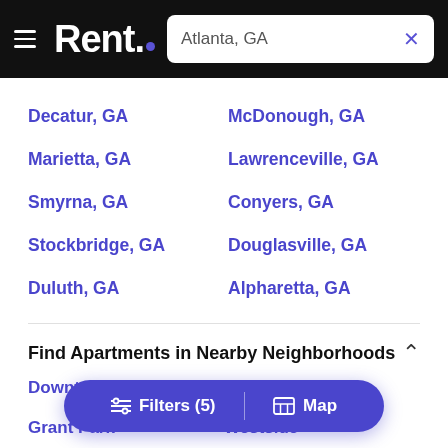Rent. — Atlanta, GA
Decatur, GA
McDonough, GA
Marietta, GA
Lawrenceville, GA
Smyrna, GA
Conyers, GA
Stockbridge, GA
Douglasville, GA
Duluth, GA
Alpharetta, GA
Find Apartments in Nearby Neighborhoods
Downtown
Westside
Grant Park